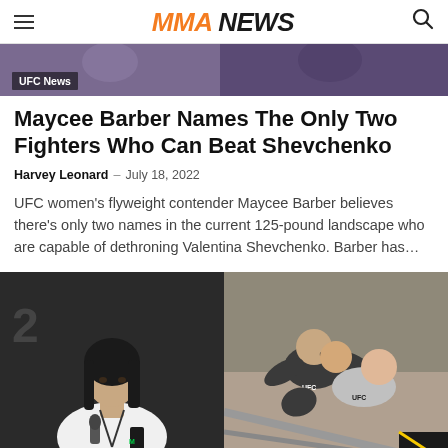MMA NEWS
[Figure (photo): Cropped top banner photo of UFC fighters in purple/black Venum gear]
UFC News
Maycee Barber Names The Only Two Fighters Who Can Beat Shevchenko
Harvey Leonard – July 18, 2022
UFC women's flyweight contender Maycee Barber believes there's only two names in the current 125-pound landscape who are capable of dethroning Valentina Shevchenko. Barber has…
[Figure (photo): Left: Maycee Barber in white top at press conference. Right: Two UFC fighters grappling in octagon cage.]